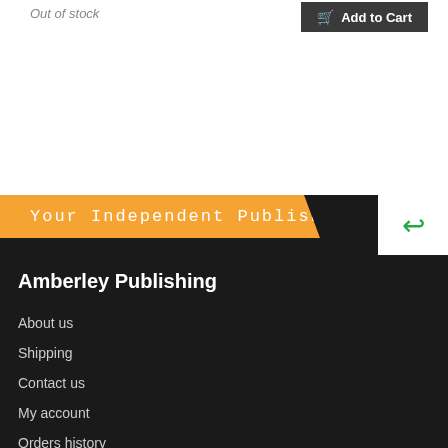Out of stock
Add to Cart
[Figure (screenshot): Orange banner with text 'Your Independent Publisher' and a green reply arrow button on white background to the right]
Amberley Publishing
About us
Shipping
Contact us
My account
Orders history
Advanced search
Cookies Policy